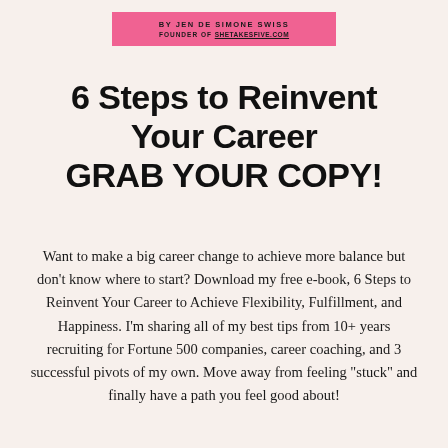BY JEN DE SIMONE SWISS FOUNDER OF SHETAKESFIVE.COM
6 Steps to Reinvent Your Career GRAB YOUR COPY!
Want to make a big career change to achieve more balance but don't know where to start? Download my free e-book, 6 Steps to Reinvent Your Career to Achieve Flexibility, Fulfillment, and Happiness. I'm sharing all of my best tips from 10+ years recruiting for Fortune 500 companies, career coaching, and 3 successful pivots of my own. Move away from feeling "stuck" and finally have a path you feel good about!